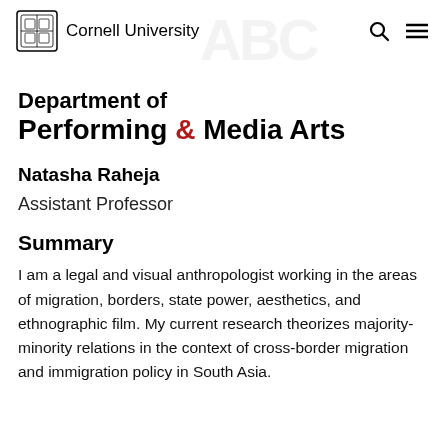Cornell University
Department of Performing & Media Arts
Natasha Raheja
Assistant Professor
Summary
I am a legal and visual anthropologist working in the areas of migration, borders, state power, aesthetics, and ethnographic film. My current research theorizes majority-minority relations in the context of cross-border migration and immigration policy in South Asia.